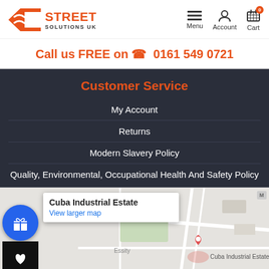[Figure (logo): Street Solutions UK logo with orange arrow/road icon and text]
Call us FREE on 📞 0161 549 0721
Customer Service
My Account
Returns
Modern Slavery Policy
Quality, Environmental, Occupational Health And Safety Policy
[Figure (map): Google Maps embed showing Cuba Industrial Estate location with popup label and larger map link]